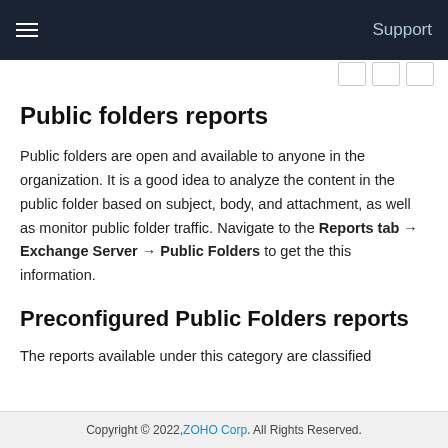Support
Public folders reports
Public folders are open and available to anyone in the organization. It is a good idea to analyze the content in the public folder based on subject, body, and attachment, as well as monitor public folder traffic. Navigate to the Reports tab → Exchange Server → Public Folders to get the this information.
Preconfigured Public Folders reports
The reports available under this category are classified
Copyright © 2022, ZOHO Corp. All Rights Reserved.